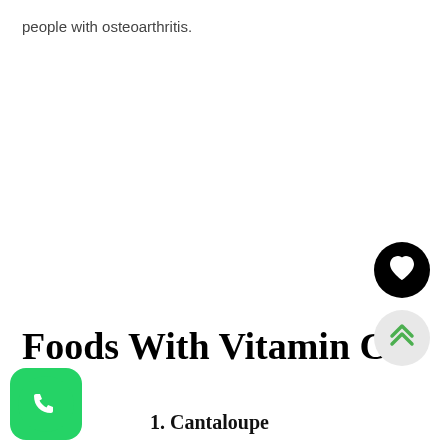people with osteoarthritis.
Foods With Vitamin C
1. Cantaloupe
[Figure (logo): WhatsApp green circular icon with phone handset]
[Figure (other): Black circular heart/like button]
[Figure (other): Light gray circular scroll-up button with double chevron]